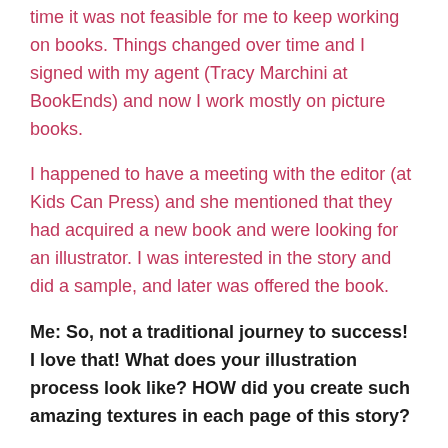time it was not feasible for me to keep working on books. Things changed over time and I signed with my agent (Tracy Marchini at BookEnds) and now I work mostly on picture books.
I happened to have a meeting with the editor (at Kids Can Press) and she mentioned that they had acquired a new book and were looking for an illustrator. I was interested in the story and did a sample, and later was offered the book.
Me: So, not a traditional journey to success!  I love that! What does your illustration process look like? HOW did you create such amazing textures in each page of this story?
Charlene: I normally start with character designs and